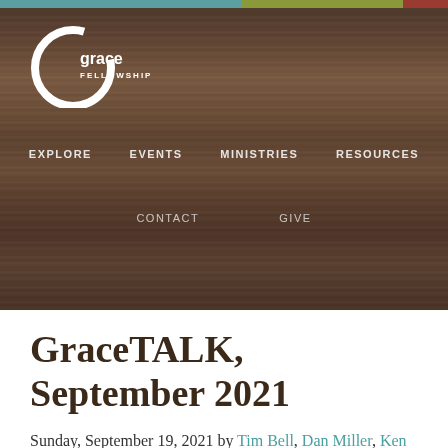[Figure (screenshot): Grace Fellowship church website header with dark wood-grain background, logo, and navigation menu items: EXPLORE, EVENTS, MINISTRIES, RESOURCES, CONTACT, GIVE]
GraceTALK, September 2021
Sunday, September 19, 2021 by Tim Bell, Dan Miller, Ken Rutherford and Zach Watson — Leave a Comment